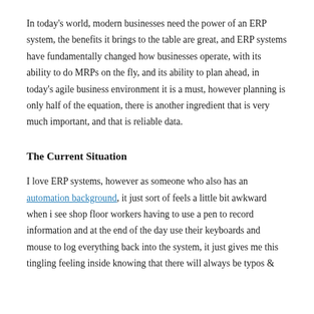In today's world, modern businesses need the power of an ERP system, the benefits it brings to the table are great, and ERP systems have fundamentally changed how businesses operate, with its ability to do MRPs on the fly, and its ability to plan ahead, in today's agile business environment it is a must, however planning is only half of the equation, there is another ingredient that is very much important, and that is reliable data.
The Current Situation
I love ERP systems, however as someone who also has an automation background, it just sort of feels a little bit awkward when i see shop floor workers having to use a pen to record information and at the end of the day use their keyboards and mouse to log everything back into the system, it just gives me this tingling feeling inside knowing that there will always be typos &